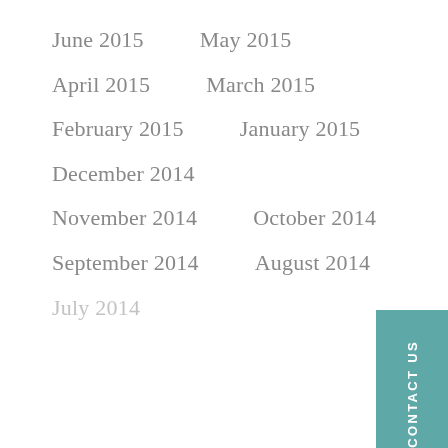June 2015
May 2015
April 2015
March 2015
February 2015
January 2015
December 2014
November 2014
October 2014
September 2014
August 2014
July 2014